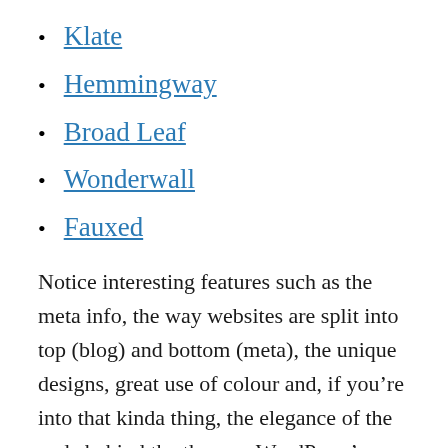Klate
Hemmingway
Broad Leaf
Wonderwall
Fauxed
Notice interesting features such as the meta info, the way websites are split into top (blog) and bottom (meta), the unique designs, great use of colour and, if you’re into that kinda thing, the elegance of the code behind the themes. WordPress’s tagline is ‘Code is